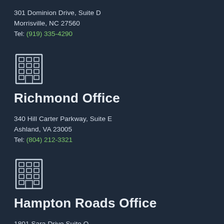301 Dominion Drive, Suite D
Morrisville, NC 27560
Tel: (919) 335-4290
[Figure (illustration): Building/office icon made of grid squares representing a multi-story office building]
Richmond Office
340 Hill Carter Parkway, Suite E
Ashland, VA 23005
Tel: (804) 212-3321
[Figure (illustration): Building/office icon made of grid squares representing a multi-story office building]
Hampton Roads Office
1801 Sara Drive Suite O
Chesapeake, VA 23320